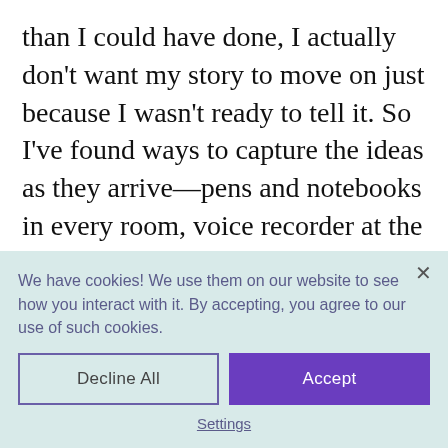than I could have done, I actually don't want my story to move on just because I wasn't ready to tell it. So I've found ways to capture the ideas as they arrive—pens and notebooks in every room, voice recorder at the ready when I'm heading off on a longer drive.
We have cookies! We use them on our website to see how you interact with it. By accepting, you agree to our use of such cookies.